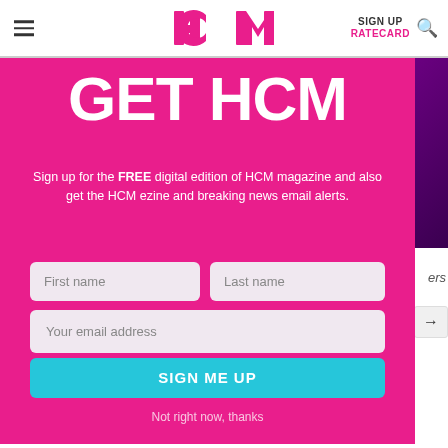HCM | SIGN UP | RATECARD
GET HCM
Sign up for the FREE digital edition of HCM magazine and also get the HCM ezine and breaking news email alerts.
First name
Last name
Your email address
SIGN ME UP
Not right now, thanks